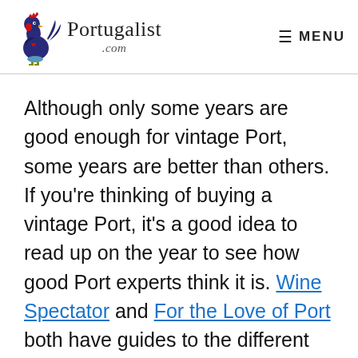Portugalist .com | MENU
Although only some years are good enough for vintage Port, some years are better than others. If you're thinking of buying a vintage Port, it's a good idea to read up on the year to see how good Port experts think it is. Wine Spectator and For the Love of Port both have guides to the different Port years.